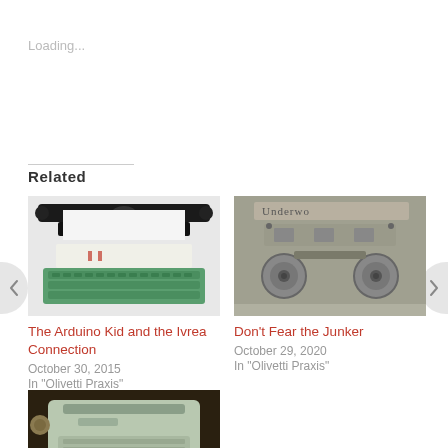Loading...
Related
[Figure (photo): Top-down view of a typewriter with green keyboard keys (Arduino/typewriter hybrid)]
The Arduino Kid and the Ivrea Connection
October 30, 2015
In "Olivetti Praxis"
[Figure (photo): Close-up interior view of an Underwood typewriter mechanism]
Don’t Fear the Junker
October 29, 2020
In "Olivetti Praxis"
[Figure (photo): Partial view of a light-colored typewriter on a dark surface]